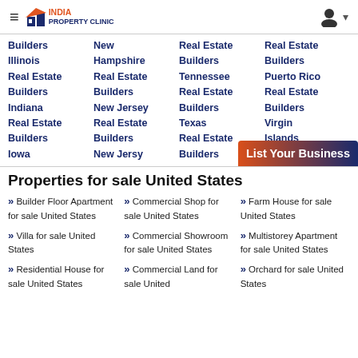India Property Clinic
Builders Illinois Real Estate Builders Indiana Real Estate Builders Iowa
New Hampshire Real Estate Builders New Jersey Real Estate Builders New Jersy
Real Estate Builders Tennessee Real Estate Builders Texas Real Estate Builders
Real Estate Builders Puerto Rico Real Estate Builders Virgin Islands
List Your Business
Properties for sale United States
Builder Floor Apartment for sale United States
Commercial Shop for sale United States
Farm House for sale United States
Villa for sale United States
Commercial Showroom for sale United States
Multistorey Apartment for sale United States
Residential House for sale United States
Commercial Land for sale United
Orchard for sale United States